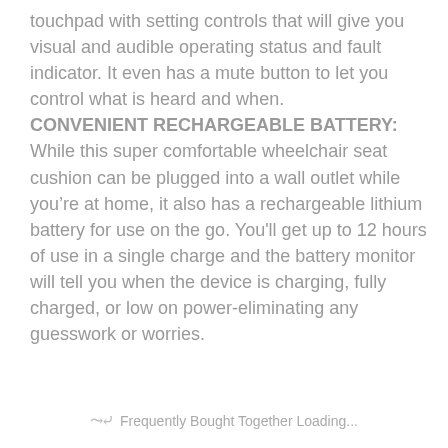touchpad with setting controls that will give you visual and audible operating status and fault indicator. It even has a mute button to let you control what is heard and when. CONVENIENT RECHARGEABLE BATTERY: While this super comfortable wheelchair seat cushion can be plugged into a wall outlet while you're at home, it also has a rechargeable lithium battery for use on the go. You'll get up to 12 hours of use in a single charge and the battery monitor will tell you when the device is charging, fully charged, or low on power-eliminating any guesswork or worries.
Frequently Bought Together Loading...